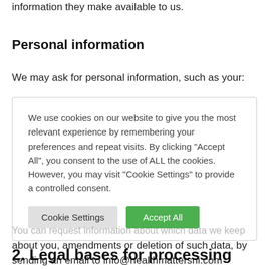information they make available to us.
Personal information
We may ask for personal information, such as your:
We use cookies on our website to give you the most relevant experience by remembering your preferences and repeat visits. By clicking "Accept All", you consent to the use of ALL the cookies. However, you may visit "Cookie Settings" to provide a controlled consent.
You can request information about which data we keep about you, amendments or deletion of such data, by sending an email to info@healthmattersni.com
2. Legal bases for processing